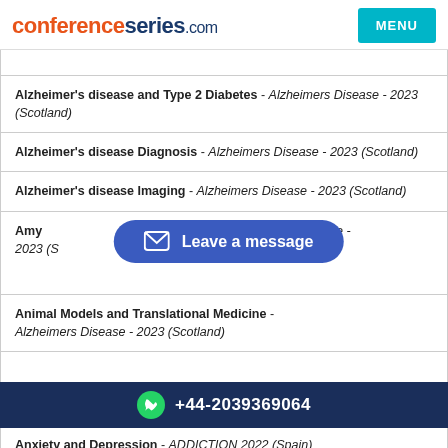conferenceseries.com | MENU
Alzheimer's disease and Type 2 Diabetes - Alzheimers Disease - 2023 (Scotland)
Alzheimer's disease Diagnosis - Alzheimers Disease - 2023 (Scotland)
Alzheimer's disease Imaging - Alzheimers Disease - 2023 (Scotland)
Amy... - Alzheimers Disease - 2023 (S...
Animal Models and Translational Medicine - Alzheimers Disease - 2023 (Scotland)
[Figure (infographic): Leave a message button overlay with envelope icon]
[Figure (infographic): Phone bar with WhatsApp icon and phone number +44-2039369064]
Anxiety and Depression - ADDICTION 2022 (Spain)